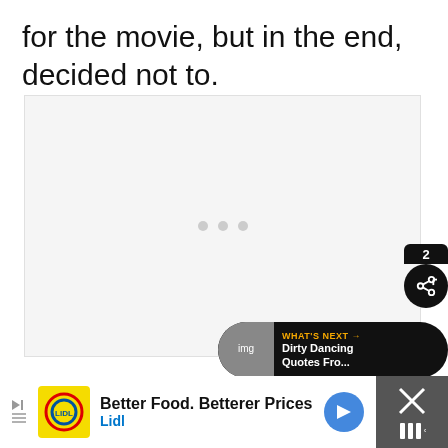for the movie, but in the end, decided not to.
[Figure (other): Light gray image placeholder area with three dots centered indicating a loading or empty media carousel]
[Figure (other): UI overlay elements: orange heart/like button, share count badge showing '2', black share button, and 'What's Next' banner showing 'Dirty Dancing Quotes Fro...']
[Figure (other): Advertisement banner at the bottom: Lidl ad with text 'Better Food. Betterer Prices' and 'Lidl', blue arrow button, and close button on right]